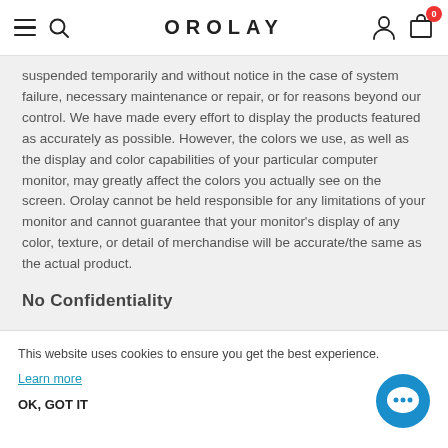OROLAY
suspended temporarily and without notice in the case of system failure, necessary maintenance or repair, or for reasons beyond our control. We have made every effort to display the products featured as accurately as possible. However, the colors we use, as well as the display and color capabilities of your particular computer monitor, may greatly affect the colors you actually see on the screen. Orolay cannot be held responsible for any limitations of your monitor and cannot guarantee that your monitor’s display of any color, texture, or detail of merchandise will be accurate/the same as the actual product.
No Confidentiality
This website uses cookies to ensure you get the best experience.
Learn more
OK, GOT IT